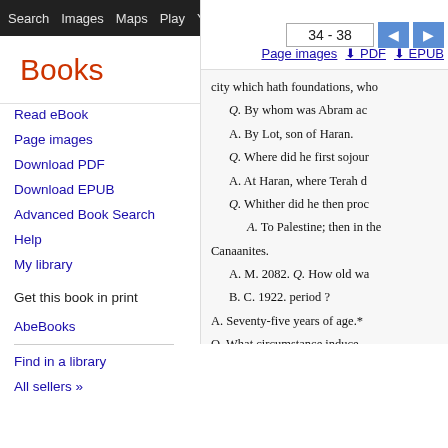Search  Images  Maps  Play  YouTube  News  Gmail  Dr  Sign In  More  ⚙
Books
34 - 38
Page images  ⬇ PDF  ⬇ EPUB
Read eBook
Page images
Download PDF
Download EPUB
Advanced Book Search
Help
My library
Get this book in print
AbeBooks
Find in a library
All sellers »
city which hath foundations, who
Q. By whom was Abram ac
A. By Lot, son of Haran.
Q. Where did he first sojour
A. At Haran, where Terah d
Q. Whither did he then proc
A. To Palestine; then in the
Canaanites.
A. M. 2082. Q. How old wa
B. C. 1922. period ?
A. Seventy-five years of age.*
Q. What circumstance induce